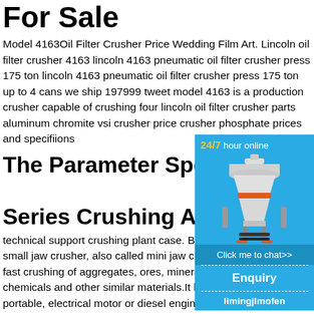For Sale
Model 4163Oil Filter Crusher Price Wedding Film Art. Lincoln oil filter crusher 4163 lincoln 4163 pneumatic oil filter crusher press 175 ton lincoln 4163 pneumatic oil filter crusher press 175 ton up to 4 cans we ship 197999 tweet model 4163 is a production crusher capable of crushing four lincoln oil filter crusher parts aluminum chromite vsi crusher price crusher phosphate prices and specifiions
The Parameter Specifiions of Series Crushing And
technical support crushing plant case. Brief small jaw crusher, also called mini jaw crusher for fast crushing of aggregates, ores, minerals, chemicals and other similar materials.It has and portable, electrical motor or diesel engine. C
bico chipmunk jaw crusher diagram coal mills
2017-5-3 · 7 crusher part list specifiions - h crusher parts list specifiions - lab3d. 7 crus
[Figure (other): Advertisement widget with blue background showing a cone crusher machine, '24/7 hour online' text in yellow/white, 'Click me to chat>>' button, 'Enquiry' section, and 'limingjlmofen' text]